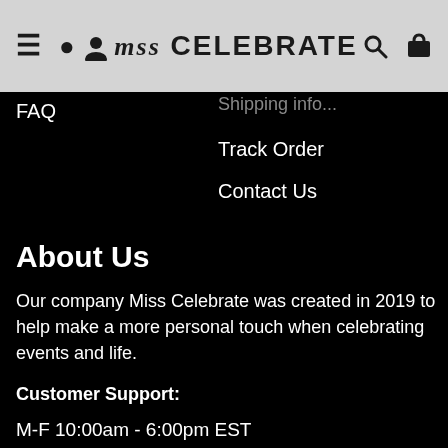Miss Celebrate — navigation header with hamburger, user, logo, search, cart icons
FAQ
Track Order
Contact Us
About Us
Our company Miss Celebrate was created in 2019 to help make a more personal touch when celebrating events and life.
Customer Support:
M-F 10:00am - 6:00pm EST
@ support@misscelebrate.com